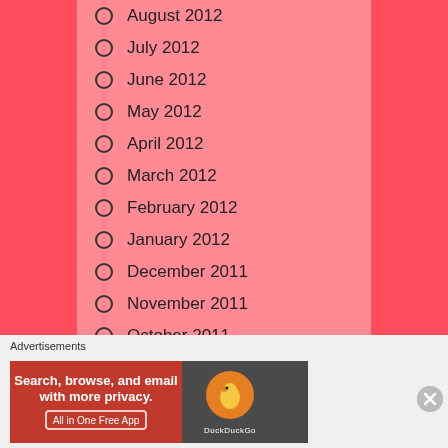August 2012
July 2012
June 2012
May 2012
April 2012
March 2012
February 2012
January 2012
December 2011
November 2011
October 2011
September 2011
Advertisements
[Figure (screenshot): DuckDuckGo advertisement banner: Search, browse, and email with more privacy. All in One Free App. DuckDuckGo logo on right side.]